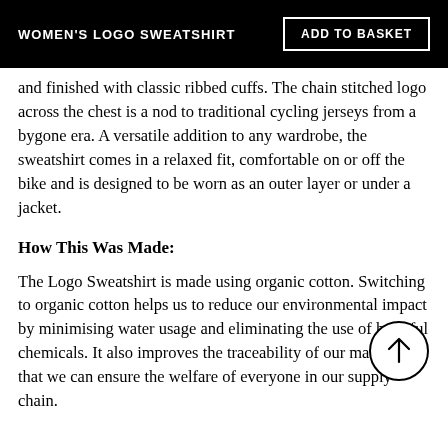WOMEN'S LOGO SWEATSHIRT | ADD TO BASKET
and finished with classic ribbed cuffs. The chain stitched logo across the chest is a nod to traditional cycling jerseys from a bygone era. A versatile addition to any wardrobe, the sweatshirt comes in a relaxed fit, comfortable on or off the bike and is designed to be worn as an outer layer or under a jacket.
How This Was Made:
The Logo Sweatshirt is made using organic cotton. Switching to organic cotton helps us to reduce our environmental impact by minimising water usage and eliminating the use of harmful chemicals. It also improves the traceability of our materials so that we can ensure the welfare of everyone in our supply chain.